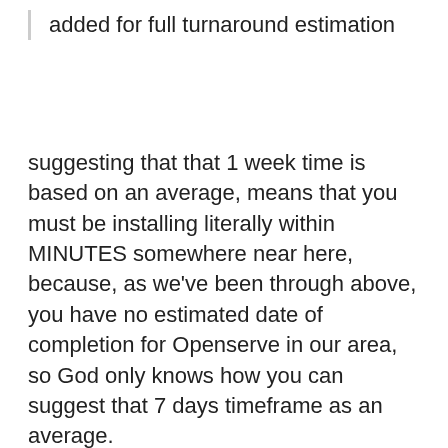added for full turnaround estimation
suggesting that that 1 week time is based on an average, means that you must be installing literally within MINUTES somewhere near here, because, as we've been through above, you have no estimated date of completion for Openserve in our area, so God only knows how you can suggest that 7 days timeframe as an average.